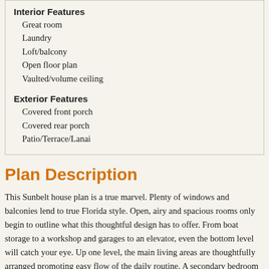Interior Features
Great room
Laundry
Loft/balcony
Open floor plan
Vaulted/volume ceiling
Exterior Features
Covered front porch
Covered rear porch
Patio/Terrace/Lanai
Plan Description
This Sunbelt house plan is a true marvel. Plenty of windows and balconies lend to true Florida style. Open, airy and spacious rooms only begin to outline what this thoughtful design has to offer. From boat storage to a workshop and garages to an elevator, even the bottom level will catch your eye. Up one level, the main living areas are thoughtfully arranged promoting easy flow of the daily routine. A secondary bedroom appreciates simple bath access and a private balcony. On the top floor, two bedrooms indulge in privacy. Another